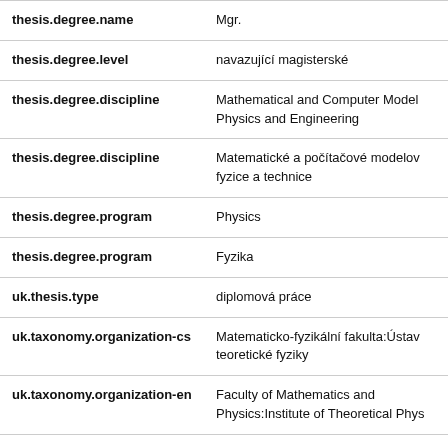| Field | Value |
| --- | --- |
| thesis.degree.name | Mgr. |
| thesis.degree.level | navazující magisterské |
| thesis.degree.discipline | Mathematical and Computer Model Physics and Engineering |
| thesis.degree.discipline | Matematické a počítačové modelov fyzice a technice |
| thesis.degree.program | Physics |
| thesis.degree.program | Fyzika |
| uk.thesis.type | diplomová práce |
| uk.taxonomy.organization-cs | Matematicko-fyzikální fakulta:Ústav teoretické fyziky |
| uk.taxonomy.organization-en | Faculty of Mathematics and Physics:Institute of Theoretical Phys |